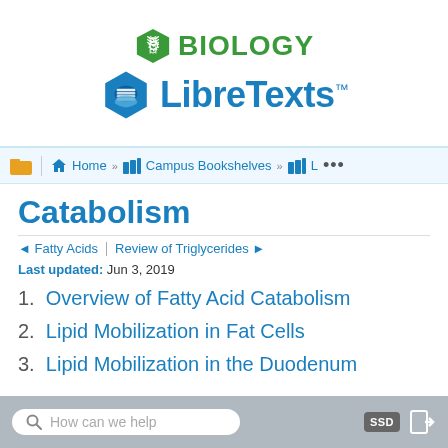[Figure (logo): Biology LibreTexts logo: green hexagon with DNA icon and BIOLOGY text, blue hexagon with book icon and LibreTexts text]
Home » Campus Bookshelves » L ...
Catabolism
◄ Fatty Acids | Review of Triglycerides ►
Last updated: Jun 3, 2019
1. Overview of Fatty Acid Catabolism
2. Lipid Mobilization in Fat Cells
3. Lipid Mobilization in the Duodenum
How can we help  SSD